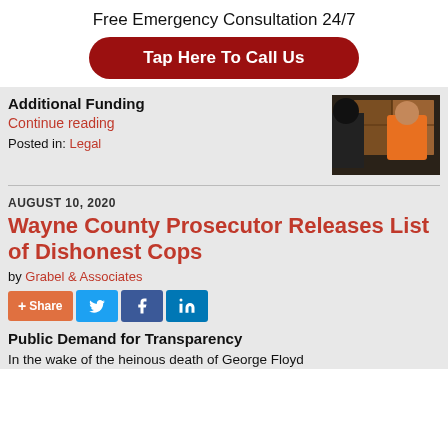Free Emergency Consultation 24/7
Tap Here To Call Us
Additional Funding
Continue reading
Posted in: Legal
[Figure (photo): Person in orange jumpsuit at a courtroom wooden podium, viewed from behind]
AUGUST 10, 2020
Wayne County Prosecutor Releases List of Dishonest Cops
by Grabel & Associates
+ Share
Public Demand for Transparency
In the wake of the heinous death of George Floyd